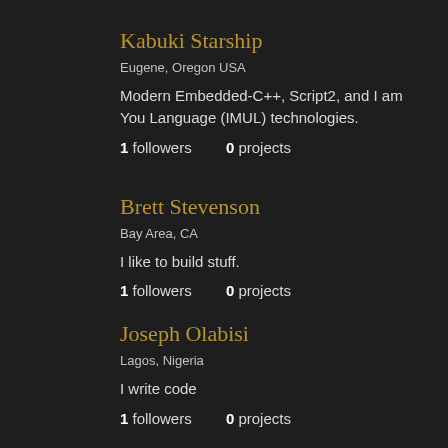Kabuki Starship
Eugene, Oregon USA
Modern Embedded-C++, Script2, and I am You Language (IMUL) technologies.
1 followers    0 projects
Brett Stevenson
Bay Area, CA
I like to build stuff.
1 followers    0 projects
Joseph Olabisi
Lagos, Nigeria
I write code
1 followers    0 projects